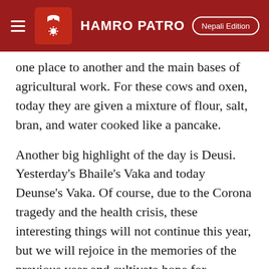HAMRO PATRO — Nepali Edition
one place to another and the main bases of agricultural work. For these cows and oxen, today they are given a mixture of flour, salt, bran, and water cooked like a pancake.
Another big highlight of the day is Deusi. Yesterday's Bhaile's Vaka and today Deunse's Vaka. Of course, due to the Corona tragedy and the health crisis, these interesting things will not continue this year, but we will rejoice in the memories of the previous year and cultivate hope for forthcomings.